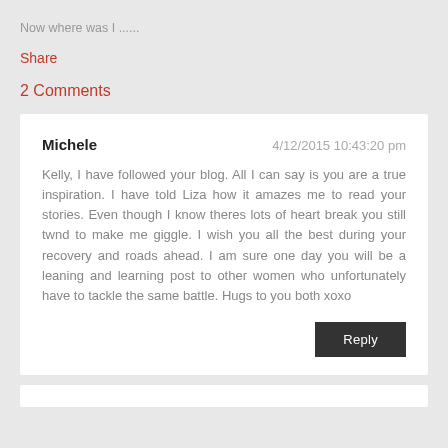Now where was I ......
Share
2 Comments
Michele   4/12/2015 10:43:20 pm
Kelly, I have followed your blog. All I can say is you are a true inspiration. I have told Liza how it amazes me to read your stories. Even though I know theres lots of heart break you still twnd to make me giggle. I wish you all the best during your recovery and roads ahead. I am sure one day you will be a leaning and learning post to other women who unfortunately have to tackle the same battle. Hugs to you both xoxo
Reply